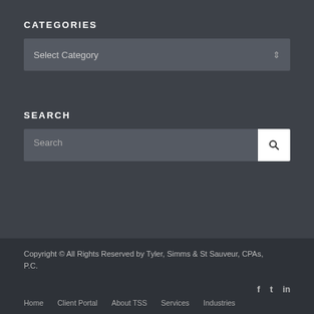CATEGORIES
[Figure (screenshot): Dropdown select box with placeholder text 'Select Category' and a small arrow icon on the right]
SEARCH
[Figure (screenshot): Search input field with placeholder 'Search' and a white search button with magnifying glass icon on the right]
Copyright © All Rights Reserved by Tyler, Simms & St Sauveur, CPAs, P.C.
Home   Client Portal   About TSS   Services   Industries